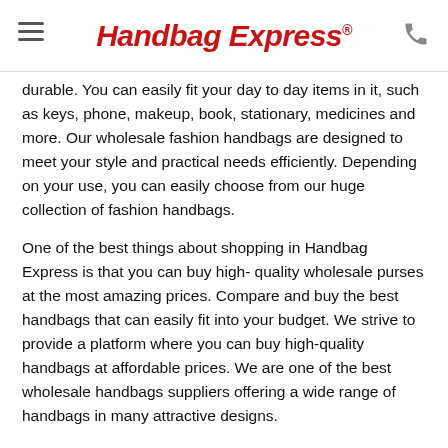Handbag Express®
durable. You can easily fit your day to day items in it, such as keys, phone, makeup, book, stationary, medicines and more. Our wholesale fashion handbags are designed to meet your style and practical needs efficiently. Depending on your use, you can easily choose from our huge collection of fashion handbags.
One of the best things about shopping in Handbag Express is that you can buy high- quality wholesale purses at the most amazing prices. Compare and buy the best handbags that can easily fit into your budget. We strive to provide a platform where you can buy high-quality handbags at affordable prices. We are one of the best wholesale handbags suppliers offering a wide range of handbags in many attractive designs.
Discount Handbags Online
If you are looking for the best discount handbags online, the Handbag Express has the best collection to meet your needs. We offer discount offers on orders to ensure you enjoy affordable shopping on our online store. Browse our collection of wholesale fashion handbags, add them to the cart, pay and get them delivered